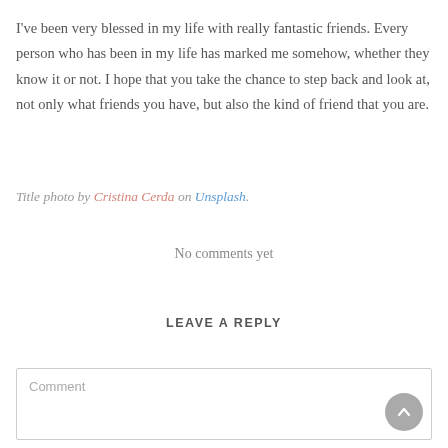I've been very blessed in my life with really fantastic friends. Every person who has been in my life has marked me somehow, whether they know it or not. I hope that you take the chance to step back and look at, not only what friends you have, but also the kind of friend that you are.
Title photo by Cristina Cerda on Unsplash.
No comments yet
LEAVE A REPLY
Comment